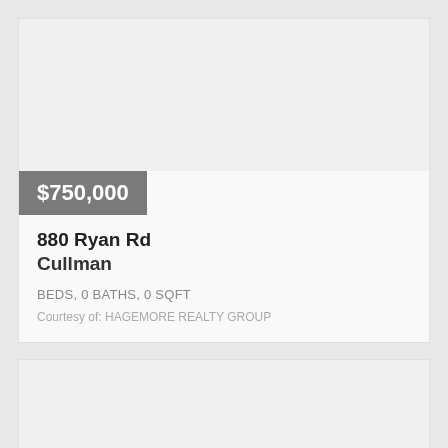$750,000
880 Ryan Rd
Cullman
BEDS, 0 BATHS, 0 SQFT
Courtesy of: HAGEMORE REALTY GROUP